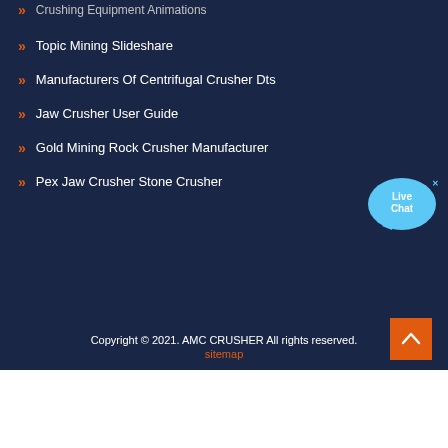Crushing Equipment Animations
Topic Mining Slideshare
Manufacturers Of Centrifugal Crusher Dts
Jaw Crusher User Guide
Gold Mining Rock Crusher Manufacturer
Pex Jaw Crusher Stone Crusher
[Figure (illustration): Live Chat button with speech bubble icon]
Copyright © 2021. AMC CRUSHER All rights reserved.
sitemap
[Figure (illustration): Back to top arrow button in orange]